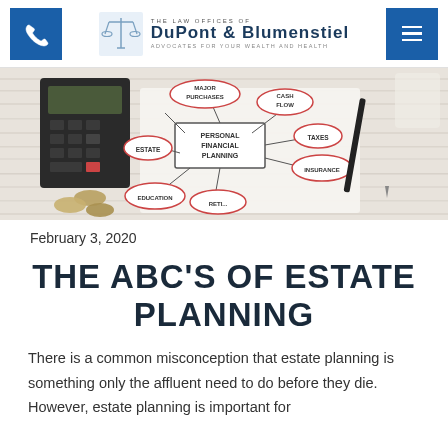THE LAW OFFICES OF DUPONT & BLUMENSTIEL — ADVOCATES FOR YOUR WEALTH AND HEALTH
[Figure (photo): Photo of a personal financial planning mind map on paper, with bubbles labeled Major Purchases, Cash Flow, Taxes, Insurance, Retirement, Education, Estate, surrounded by coins, a calculator, and a pen on a white wooden surface.]
February 3, 2020
THE ABC'S OF ESTATE PLANNING
There is a common misconception that estate planning is something only the affluent need to do before they die. However, estate planning is important for